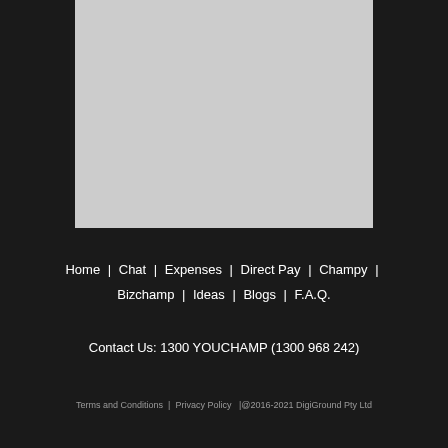[Figure (other): Gray placeholder image area in upper portion of dark page]
Home | Chat | Expenses | Direct Pay | Champy | Bizchamp | Ideas | Blogs | F.A.Q.
Contact Us: 1300 YOUCHAMP (1300 968 242)
Terms and Conditions | Privacy Policy |@2016-2021 DigiGround Pty Ltd